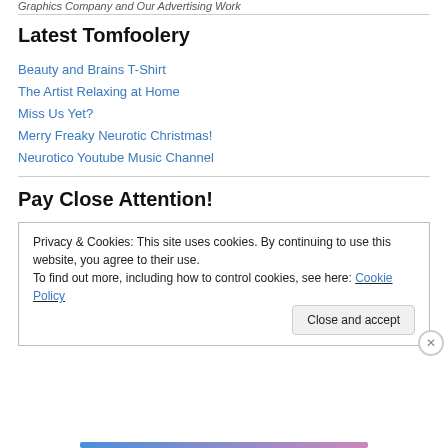Graphics Company and Our Advertising Work
Latest Tomfoolery
Beauty and Brains T-Shirt
The Artist Relaxing at Home
Miss Us Yet?
Merry Freaky Neurotic Christmas!
Neurotico Youtube Music Channel
Pay Close Attention!
Privacy & Cookies: This site uses cookies. By continuing to use this website, you agree to their use.
To find out more, including how to control cookies, see here: Cookie Policy
Close and accept